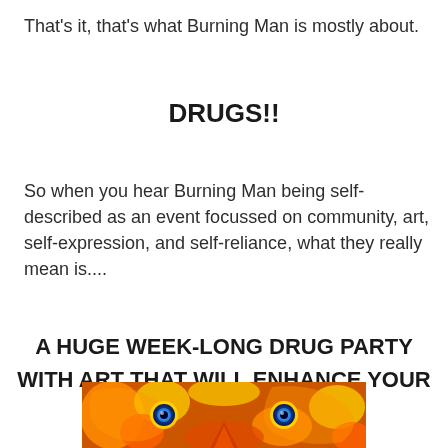That's it, that's what Burning Man is mostly about.
DRUGS!!
So when you hear Burning Man being self-described as an event focussed on community, art, self-expression, and self-reliance, what they really mean is....
A HUGE WEEK-LONG DRUG PARTY WITH ART THAT WILL ENHANCE YOUR DRUG EXPERIENCE!!
[Figure (illustration): Colorful psychedelic fractal image with orange and yellow flame-like patterns and blue circular eye-like shapes in the center]